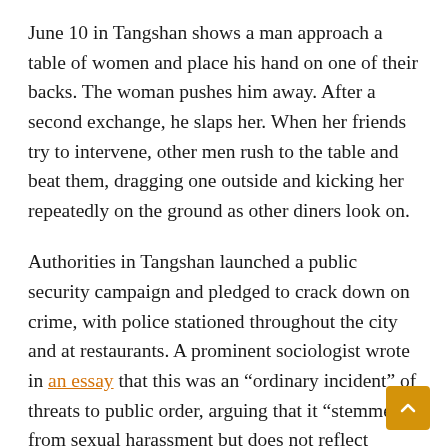June 10 in Tangshan shows a man approach a table of women and place his hand on one of their backs. The woman pushes him away. After a second exchange, he slaps her. When her friends try to intervene, other men rush to the table and beat them, dragging one outside and kicking her repeatedly on the ground as other diners look on.
Authorities in Tangshan launched a public security campaign and pledged to crack down on crime, with police stationed throughout the city and at restaurants. A prominent sociologist wrote in an essay that this was an “ordinary incident” of threats to public order, arguing that it “stemmed from sexual harassment but does not reflect gender discrimination in society.”